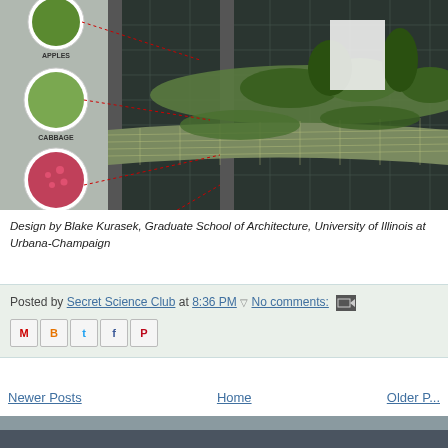[Figure (illustration): Partial view of a vertical farm building design showing circular building with mesh facade covered in green plants. Left side shows labeled circular insets of crops: APPLES (top, partially cut off), CABBAGE, STRAWBERRIES, CHERRIES — connected by red dotted lines to the building facade.]
Design by Blake Kurasek, Graduate School of Architecture, University of Illinois at Urbana-Champaign
Posted by Secret Science Club at 8:36 PM   No comments:
Newer Posts   Home   Older P...
Subscribe to: Posts (Atom)